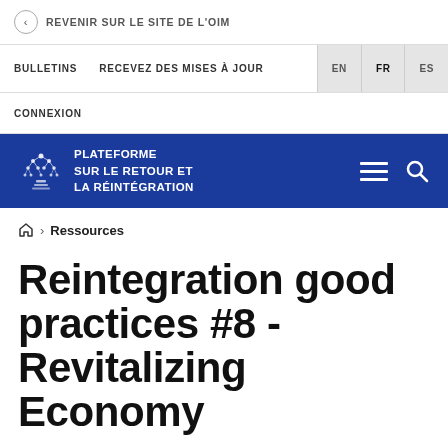REVENIR SUR LE SITE DE L'OIM
BULLETINS   RECEVEZ DES MISES À JOUR   EN   FR   ES
CONNEXION
[Figure (logo): PLATEFORME SUR LE RETOUR ET LA RÉINTÉGRATION logo on blue banner with hamburger menu and search icon]
Ressources
Reintegration good practices #8 - Revitalizing Economy